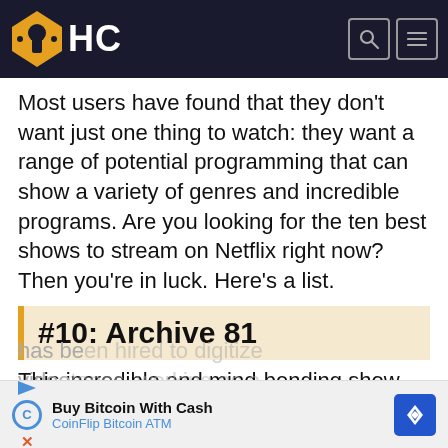HC
Most users have found that they don't want just one thing to watch: they want a range of potential programming that can show a variety of genres and incredible programs. Are you looking for the ten best shows to stream on Netflix right now? Then you're in luck. Here's a list.
#10: Archive 81
This incredible and mind-bending show twists the boundaries between reality and fantasy. It shows the parallel stories of Dan and Melody. Dan, a conservator who restores retro tapes, has be... video... a
[Figure (infographic): CoinFlip Bitcoin ATM advertisement banner: Buy Bitcoin With Cash, CoinFlip Bitcoin ATM]